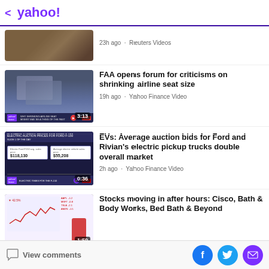< yahoo!
[Figure (screenshot): Partial news thumbnail showing military/outdoor scene]
23h ago · Reuters Videos
[Figure (screenshot): Video thumbnail of airplane seats with duration 3:13, FAA airline seat story, Yahoo Finance Video]
FAA opens forum for criticisms on shrinking airline seat size
19h ago · Yahoo Finance Video
[Figure (screenshot): Video thumbnail showing EV auction prices for Ford F-150, $118,130 and $55,208, duration 0:36]
EVs: Average auction bids for Ford and Rivian's electric pickup trucks double overall market
2h ago · Yahoo Finance Video
[Figure (screenshot): Video thumbnail showing stock chart with red figure presenter, duration 1:59]
Stocks moving in after hours: Cisco, Bath & Body Works, Bed Bath & Beyond
View comments
Facebook, Twitter, Email share buttons